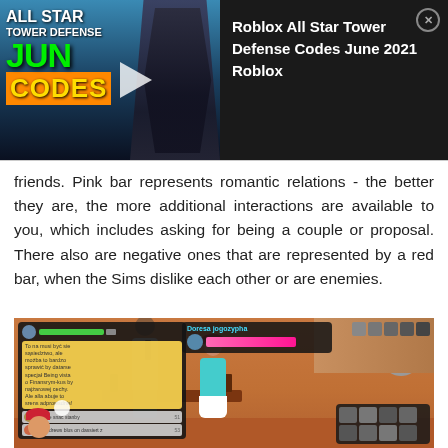[Figure (screenshot): Advertisement banner for 'Roblox All Star Tower Defense Codes June 2021'. Left side shows game artwork with green and yellow text on dark background with a ninja character. Right side shows text 'Roblox All Star Tower Defense Codes June 2021 Roblox' on black background with a close button.]
friends. Pink bar represents romantic relations - the better they are, the more additional interactions are available to you, which includes asking for being a couple or proposal. There also are negative ones that are represented by a red bar, when the Sims dislike each other or are enemies.
[Figure (screenshot): The Sims 4 gameplay screenshot showing two Sims (a male and female) interacting outdoors on an orange/sandy terrain. UI panels visible including relationship bars (green and pink), action menu in Polish language, and item tray at bottom right.]